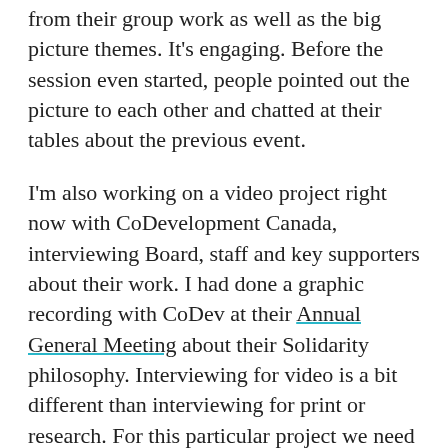from their group work as well as the big picture themes. It's engaging. Before the session even started, people pointed out the picture to each other and chatted at their tables about the previous event.
I'm also working on a video project right now with CoDevelopment Canada, interviewing Board, staff and key supporters about their work. I had done a graphic recording with CoDev at their Annual General Meeting about their Solidarity philosophy. Interviewing for video is a bit different than interviewing for print or research. For this particular project we need the interviewees' sentences to be vivid and to the point. An interviewee was giving a powerful and very detailed example about their philosophy of Solidarity. Graphic recording can help with clear speaking points. I asked her if she could pause, and look to her left where a printout of the AGM graphic recording (only a couple